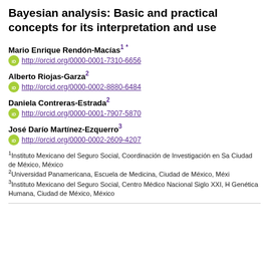Bayesian analysis: Basic and practical concepts for its interpretation and use
Mario Enrique Rendón-Macías [1] [*]
http://orcid.org/0000-0001-7310-6656
Alberto Riojas-Garza [2]
http://orcid.org/0000-0002-8880-6484
Daniela Contreras-Estrada [2]
http://orcid.org/0000-0001-7907-5870
José Darío Martínez-Ezquerro [3]
http://orcid.org/0000-0002-2609-4207
1 Instituto Mexicano del Seguro Social, Coordinación de Investigación en Sa... Ciudad de México, México
2 Universidad Panamericana, Escuela de Medicina, Ciudad de México, Méxi...
3 Instituto Mexicano del Seguro Social, Centro Médico Nacional Siglo XXI, H... Genética Humana, Ciudad de México, México